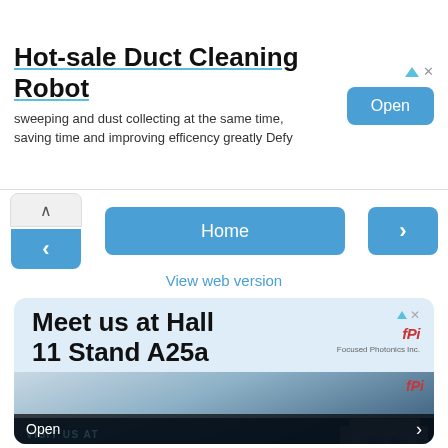[Figure (infographic): Top advertisement banner for Hot-sale Duct Cleaning Robot with Open button]
[Figure (infographic): Navigation row with up arrow, left arrow, Home button, and right arrow]
View web version
[Figure (infographic): Bottom advertisement card: Meet us at Hall 11 Stand A25a, FPI logo, ACHEMA2022 event image with Open button]